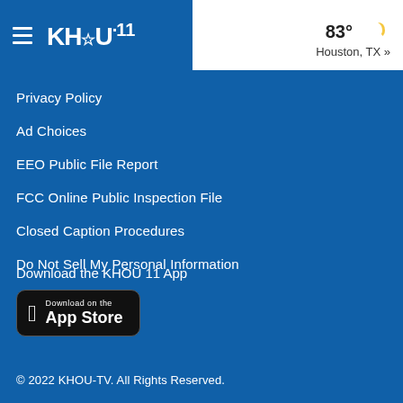KHOU 11 | 83° Houston, TX »
Privacy Policy
Ad Choices
EEO Public File Report
FCC Online Public Inspection File
Closed Caption Procedures
Do Not Sell My Personal Information
Download the KHOU 11 App
[Figure (logo): Download on the App Store button]
© 2022 KHOU-TV. All Rights Reserved.